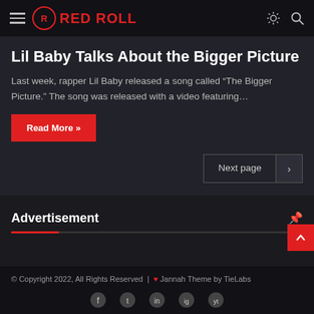RED ROLL
Lil Baby Talks About the Bigger Picture
Last week, rapper Lil Baby released a song called “The Bigger Picture.” The song was released with a video featuring…
Read More »
Next page
Advertisement
© Copyright 2022, All Rights Reserved | ♥ Jannah Theme by TieLabs